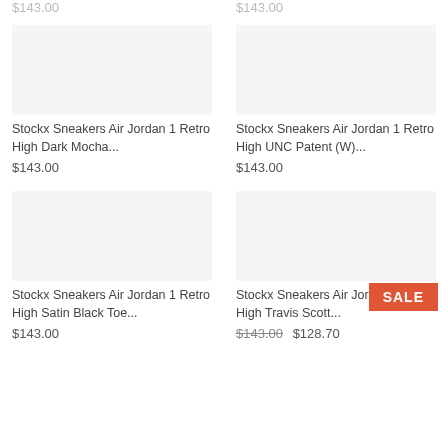$143.00 (top left, greyed)
$143.00 (top right, greyed)
Stockx Sneakers Air Jordan 1 Retro High Dark Mocha...
$143.00
Stockx Sneakers Air Jordan 1 Retro High UNC Patent (W)...
$143.00
Stockx Sneakers Air Jordan 1 Retro High Satin Black Toe...
$143.00
Stockx Sneakers Air Jordan 1 Retro High Travis Scott...
$143.00  $128.70
SALE